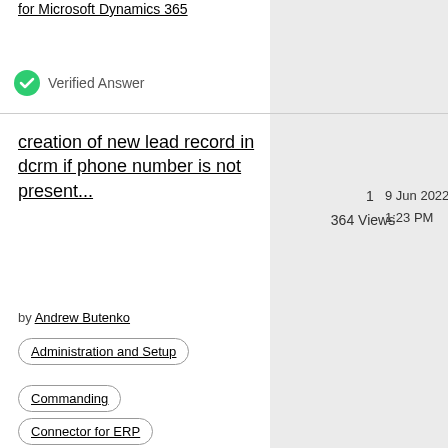for Microsoft Dynamics 365
Verified Answer
creation of new lead record in dcrm if phone number is not present...
by Andrew Butenko
1
364 Views
9 Jun 2022
1:23 PM
Administration and Setup
Commanding
Connector for ERP